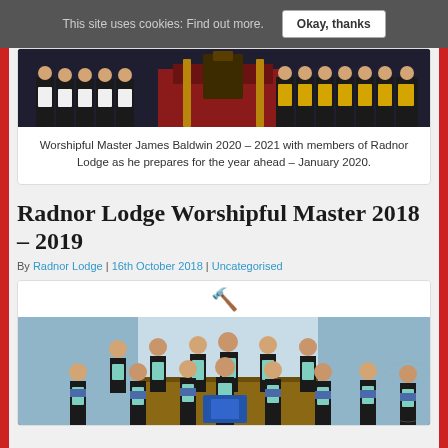This site uses cookies: Find out more.  Okay, thanks
[Figure (photo): Group photo of Worshipful Master James Baldwin 2020-2021 with members of Radnor Lodge in ceremonial Masonic regalia inside a lodge room]
Worshipful Master James Baldwin 2020 – 2021 with members of Radnor Lodge as he prepares for the year ahead – January 2020.
Radnor Lodge Worshipful Master 2018 – 2019
By Radnor Lodge | 16th October 2018 | Uncategorised
[Figure (photo): Group photo of Radnor Lodge members in Masonic regalia including blue and gold aprons and sashes, standing together for a formal lodge photograph in 2018-2019]